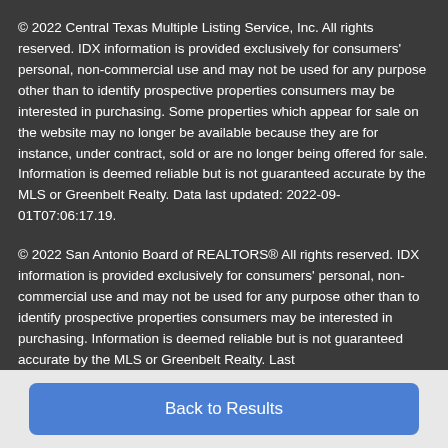© 2022 Central Texas Multiple Listing Service, Inc. All rights reserved. IDX information is provided exclusively for consumers' personal, non-commercial use and may not be used for any purpose other than to identify prospective properties consumers may be interested in purchasing. Some properties which appear for sale on the website may no longer be available because they are for instance, under contract, sold or are no longer being offered for sale. Information is deemed reliable but is not guaranteed accurate by the MLS or Greenbelt Realty. Data last updated: 2022-09-01T07:06:17.19.
© 2022 San Antonio Board of REALTORS® All rights reserved. IDX information is provided exclusively for consumers' personal, non-commercial use and may not be used for any purpose other than to identify prospective properties consumers may be interested in purchasing. Information is deemed reliable but is not guaranteed accurate by the MLS or Greenbelt Realty. Last
Back to Results